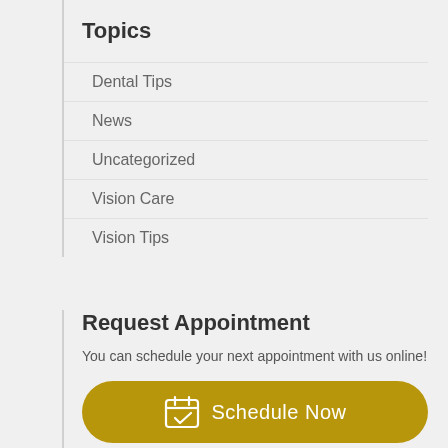Topics
Dental Tips
News
Uncategorized
Vision Care
Vision Tips
Request Appointment
You can schedule your next appointment with us online!
[Figure (other): Yellow rounded button with calendar icon and text 'Schedule Now']
785-776-9461